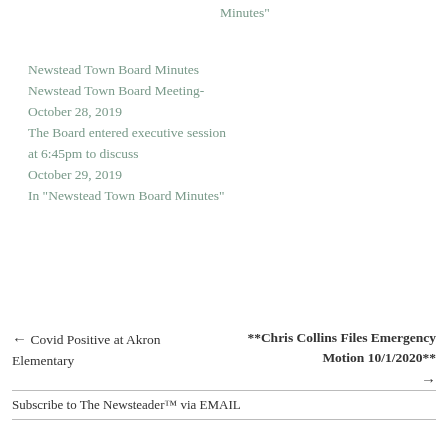Minutes"
Newstead Town Board Minutes
Newstead Town Board Meeting- October 28, 2019
The Board entered executive session at 6:45pm to discuss
October 29, 2019
In "Newstead Town Board Minutes"
← Covid Positive at Akron Elementary
**Chris Collins Files Emergency Motion 10/1/2020** →
Subscribe to The Newsteader™ via EMAIL